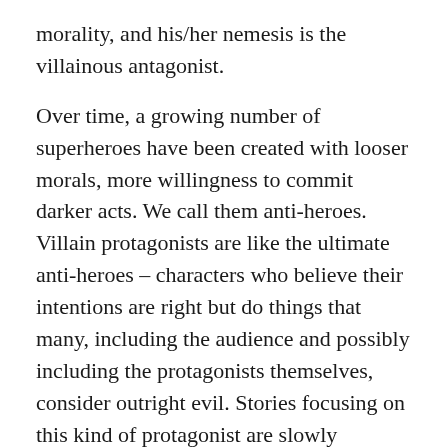morality, and his/her nemesis is the villainous antagonist.
Over time, a growing number of superheroes have been created with looser morals, more willingness to commit darker acts. We call them anti-heroes. Villain protagonists are like the ultimate anti-heroes – characters who believe their intentions are right but do things that many, including the audience and possibly including the protagonists themselves, consider outright evil. Stories focusing on this kind of protagonist are slowly becoming more popular.
Lex Luthor considers himself a hero, using his superior intellect for the betterment of